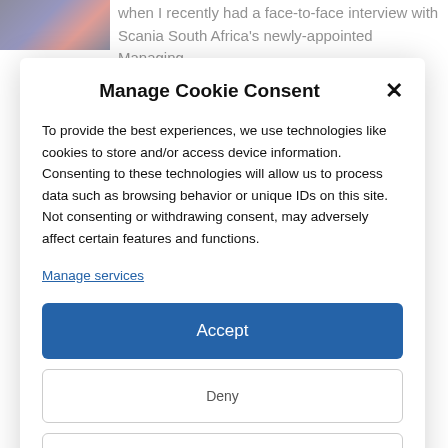[Figure (photo): Dark background image with blue and red lighting, partially visible on top left]
when I recently had a face-to-face interview with Scania South Africa's newly-appointed Managing
Manage Cookie Consent
To provide the best experiences, we use technologies like cookies to store and/or access device information. Consenting to these technologies will allow us to process data such as browsing behavior or unique IDs on this site. Not consenting or withdrawing consent, may adversely affect certain features and functions.
Manage services
Accept
Deny
View preferences
Cookie Policy   Privacy Policy